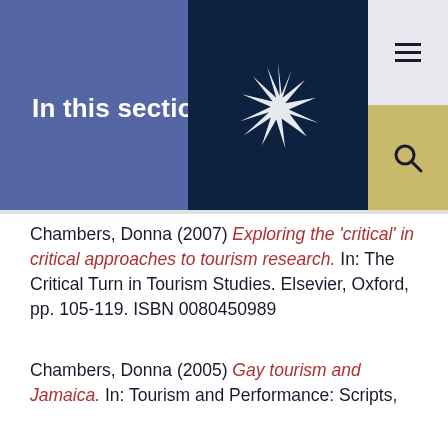In this section...
Chambers, Donna (2007) Exploring the 'critical' in critical approaches to tourism research. In: The Critical Turn in Tourism Studies. Elsevier, Oxford, pp. 105-119. ISBN 0080450989
Chambers, Donna (2005) Gay tourism and Jamaica. In: Tourism and Performance: Scripts, Stages and Stories, 14-18 Aug 2004, Centre for Tourism & Cultural Change, Sheffield Hallam University, Sheffield. (Unpublished)
Chambers, Donna (2009) Gospel Festival tourism: at the cross roads between the sacred